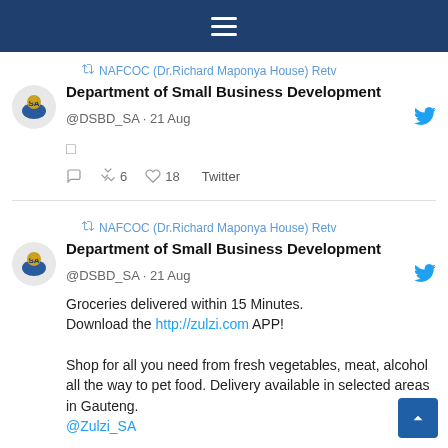Navigation menu bar (hamburger icon)
NAFCOC (Dr.Richard Maponya House) Retv
Department of Small Business Development @DSBD_SA · 21 Aug
[image placeholder]
6 retweets · 18 likes · Twitter
NAFCOC (Dr.Richard Maponya House) Retv
Department of Small Business Development @DSBD_SA · 21 Aug
Groceries delivered within 15 Minutes. Download the http://zulzi.com APP!

Shop for all you need from fresh vegetables, meat, alcohol all the way to pet food. Delivery available in selected areas in Gauteng. @Zulzi_SA